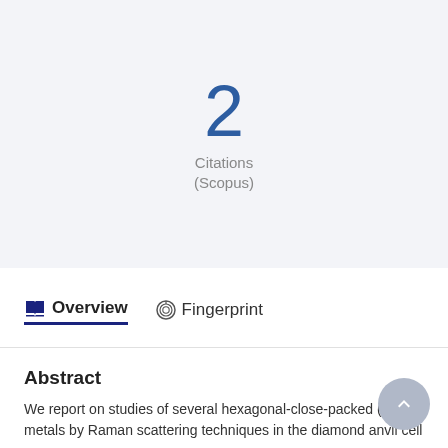2
Citations
(Scopus)
Overview   Fingerprint
Abstract
We report on studies of several hexagonal-close-packed (hcp) metals by Raman scattering techniques in the diamond anvil cell